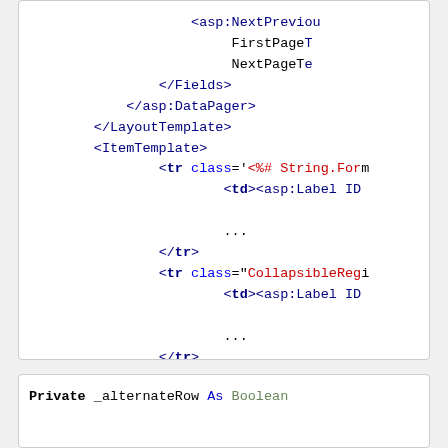[Figure (screenshot): Code snippet showing XML/ASP markup with closing tags for Fields, DataPager, LayoutTemplate, ItemTemplate blocks and tr/td elements with class attributes including String.Format and CollapsibleReg references, plus asp:Label ID elements]
[Figure (screenshot): Code snippet showing VB.NET declaration: Private _alternateRow As Boolean]